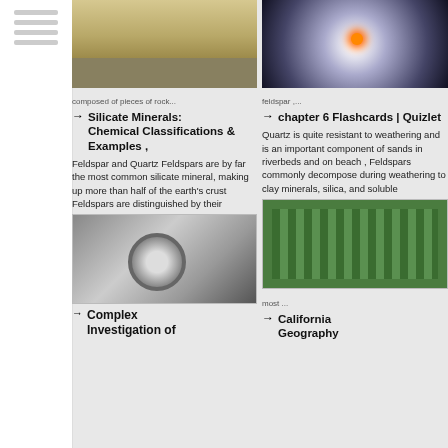[Figure (photo): Aerial view of sand or mineral pit with terraced layers]
composed of pieces of rock...
→ Silicate Minerals: Chemical Classifications & Examples ,
Feldspar and Quartz Feldspars are by far the most common silicate mineral, making up more than half of the earth's crust Feldspars are distinguished by their
[Figure (photo): Close-up of industrial mechanical equipment, metallic roller or gear]
Complex Investigation of
[Figure (photo): Macro photo of mineral or crystal with glowing center, dark background]
feldspar ,...
→ chapter 6 Flashcards | Quizlet
Quartz is quite resistant to weathering and is an important component of sands in riverbeds and on beach , Feldspars commonly decompose during weathering to clay minerals, silica, and soluble
[Figure (photo): Green perforated metal panel or grate]
most ...
→ California Geography